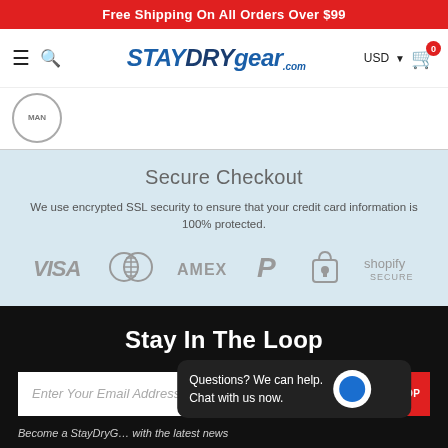Free Shipping On All Orders Over $99
[Figure (logo): StayDryGear.com logo with navigation icons (hamburger, search, cart with badge 0) and USD currency selector]
[Figure (logo): Partial circular brand stamp logo]
Secure Checkout
We use encrypted SSL security to ensure that your credit card information is 100% protected.
[Figure (infographic): Payment method icons: VISA, Mastercard, AMEX, PayPal, padlock, Shopify Secure]
Stay In The Loop
Enter Your Email Address
KEEP ME IN THE LOOP
Become a StayDryG… with the latest news
Questions? We can help. Chat with us now.